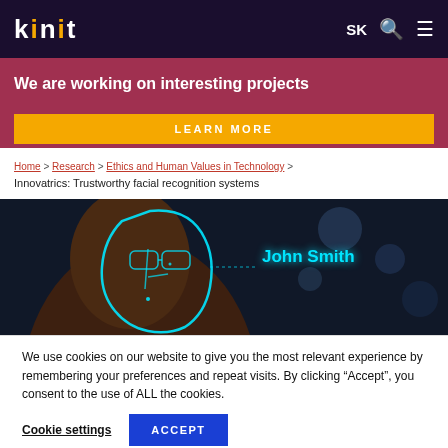KINIT | SK
We are working on interesting projects
LEARN MORE
Home > Research > Ethics and Human Values in Technology >
Innovatrics: Trustworthy facial recognition systems
[Figure (photo): A person wearing glasses using a smartphone with a glowing facial recognition overlay on their face, with text 'John Smith' displayed in cyan]
We use cookies on our website to give you the most relevant experience by remembering your preferences and repeat visits. By clicking “Accept”, you consent to the use of ALL the cookies.
Cookie settings   ACCEPT